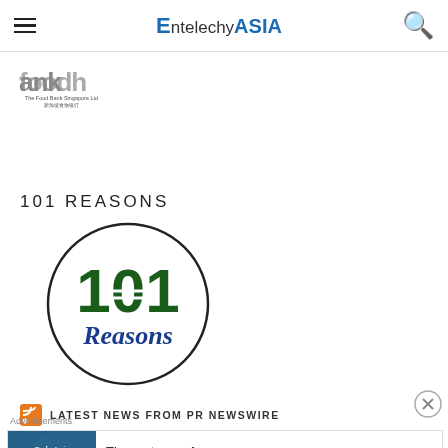EntelechyASIA
[Figure (logo): Food Bank Singapore Ltd logo with Chinese characters 新加坡食物银行]
101 REASONS
[Figure (logo): 101 Reasons circular logo with green 101 and blue cursive Reasons text]
LATEST NEWS FROM PR NEWSWIRE
[Figure (other): Advertisement banner: The go-to app for podcast lovers. Pocket Casts]
Advertisements